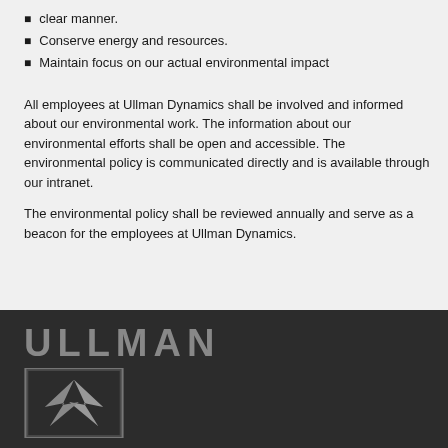clear manner.
Conserve energy and resources.
Maintain focus on our actual environmental impact
All employees at Ullman Dynamics shall be involved and informed about our environmental work. The information about our environmental efforts shall be open and accessible. The environmental policy is communicated directly and is available through our intranet.
The environmental policy shall be reviewed annually and serve as a beacon for the employees at Ullman Dynamics.
[Figure (logo): Ullman Dynamics logo: text 'ULLMAN' above a dark square containing a stylized silver/grey bird or lightning bolt graphic]